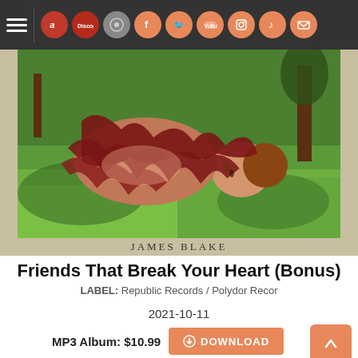Navigation bar with hamburger menu and social/store icons: Amazon, Discogs, music store, Facebook, Twitter, YouTube, Instagram, TikTok, Email
[Figure (illustration): Album cover for James Blake – Friends That Break Your Heart (Bonus). Painting of a person lying on grass with dark red abstract shapes covering their body, with green lawn and trees in background. Artist name 'JAMES BLAKE' printed below the painting on a cream band.]
Friends That Break Your Heart (Bonus)
LABEL: Republic Records / Polydor Recor
2021-10-11
MP3 Album: $10.99  DOWNLOAD